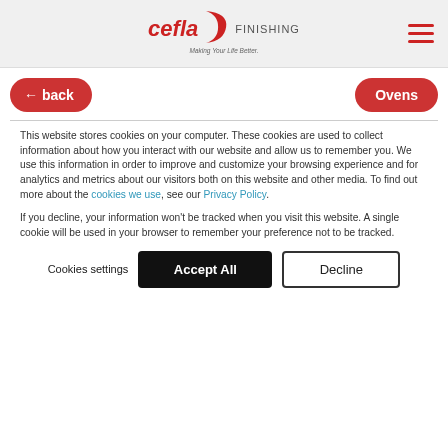[Figure (logo): Cefla Finishing logo with crescent shape and tagline 'Making Your Life Better.']
[Figure (other): Hamburger menu icon (three red horizontal lines)]
← back
Ovens
This website stores cookies on your computer. These cookies are used to collect information about how you interact with our website and allow us to remember you. We use this information in order to improve and customize your browsing experience and for analytics and metrics about our visitors both on this website and other media. To find out more about the cookies we use, see our Privacy Policy.
If you decline, your information won't be tracked when you visit this website. A single cookie will be used in your browser to remember your preference not to be tracked.
Cookies settings
Accept All
Decline